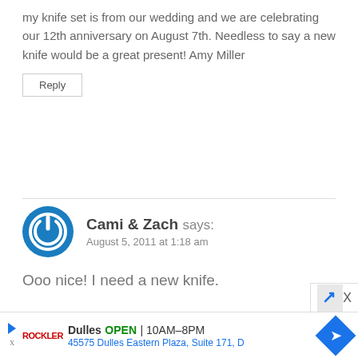my knife set is from our wedding and we are celebrating our 12th anniversary on August 7th. Needless to say a new knife would be a great present! Amy Miller
Reply
Cami & Zach says: August 5, 2011 at 1:18 am
Ooo nice! I need a new knife.
Dulles OPEN | 10AM–8PM 45575 Dulles Eastern Plaza, Suite 171, D